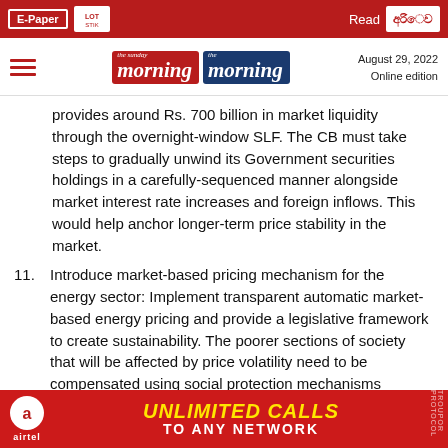E-Paper | the sunday morning | the morning | August 29, 2022 Online edition
provides around Rs. 700 billion in market liquidity through the overnight-window SLF. The CB must take steps to gradually unwind its Government securities holdings in a carefully-sequenced manner alongside market interest rate increases and foreign inflows. This would help anchor longer-term price stability in the market.
11. Introduce market-based pricing mechanism for the energy sector: Implement transparent automatic market-based energy pricing and provide a legislative framework to create sustainability. The poorer sections of society that will be affected by price volatility need to be compensated using social protection mechanisms discussed in point 8.
12. Prote... debt restr... s that
[Figure (other): Airtel advertisement banner: UNLIMITED CALLS TO ANY NETWORK]